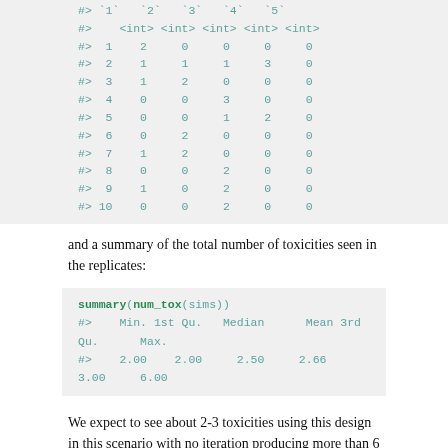#>   `1`  `2`  `3`  `4`  `5`
#>   <int> <int> <int> <int> <int>
#> 1  2  0  0  0  0
#> 2  1  1  1  3  0
#> 3  1  2  0  0  0
#> 4  0  0  3  0  0
#> 5  0  0  1  2  0
#> 6  0  2  0  0  0
#> 7  1  2  0  0  0
#> 8  0  0  2  0  0
#> 9  1  0  2  0  0
#> 10  0  0  2  0  0
and a summary of the total number of toxicities seen in the replicates:
summary(num_tox(sims))
#>    Min. 1st Qu.  Median    Mean 3rd Qu.    Max.
#>    2.00   2.00    2.50    2.66   3.00    6.00
We expect to see about 2-3 toxicities using this design in this scenario with no iteration producing more than 6 toxicities.
For convenience, simulations can be cast to a tibble: